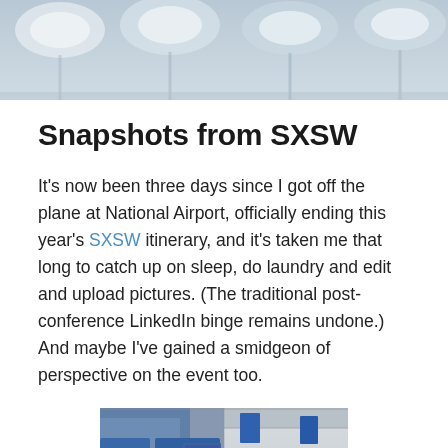[Figure (photo): Top banner photo showing rows of overhead lights or fixtures, grayish-blue tones, blurred background]
Snapshots from SXSW
It's now been three days since I got off the plane at National Airport, officially ending this year's SXSW itinerary, and it's taken me that long to catch up on sleep, do laundry and edit and upload pictures. (The traditional post-conference LinkedIn binge remains undone.)  And maybe I've gained a smidgeon of perspective on the event too.
[Figure (photo): Indoor conference hall photo showing two scenes side by side: left side shows a quieter registration or hallway area with blue signage; right side shows a crowded convention floor with many attendees]